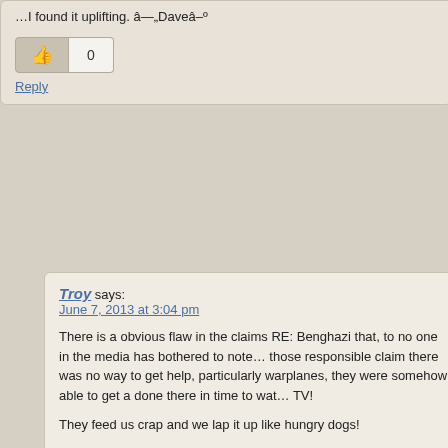…I found it uplifting. â—„Daveâ–º
0
Reply
Troy says: June 7, 2013 at 3:04 pm
There is a obvious flaw in the claims RE: Benghazi that, to no one in the media has bothered to note… those responsible claim there was no way to get help, particularly warplanes, they were somehow able to get a done there in time to watch TV!
They feed us crap and we lap it up like hungry dogs!
Had such happened in the REAL America of yesterday, those have been hanged (as they deserved to be) rather than giving lies to the American people.
My friends, all I can ask now is that you join me in lamenting
Troy
0